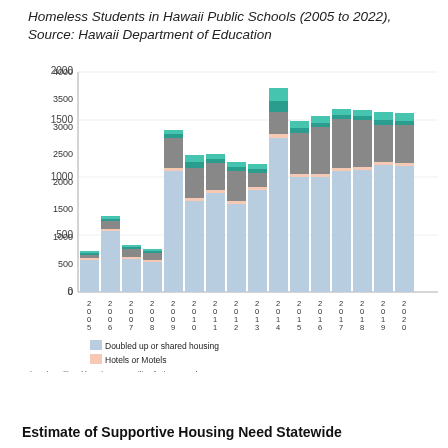Homeless Students in Hawaii Public Schools (2005 to 2022), Source: Hawaii Department of Education
[Figure (stacked-bar-chart): Homeless Students in Hawaii Public Schools (2005 to 2022)]
Estimate of Supportive Housing Need Statewide